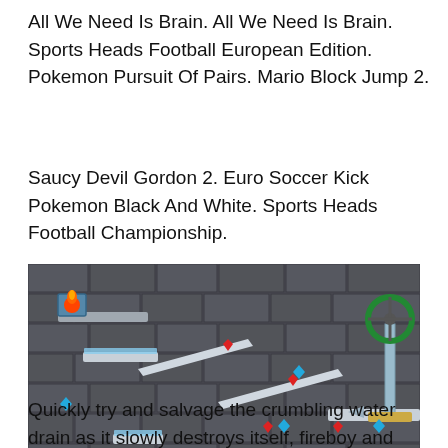All We Need Is Brain. All We Need Is Brain. Sports Heads Football European Edition. Pokemon Pursuit Of Pairs. Mario Block Jump 2.
Saucy Devil Gordon 2. Euro Soccer Kick Pokemon Black And White. Sports Heads Football Championship.
[Figure (screenshot): Screenshot of a platformer video game (Fireboy and Watergirl style) showing a dark stone brick dungeon level with platforms, red and blue gems/diamonds scattered around, a character with a flame head on the left, and a circular gear/wheel mechanism on the right side.]
Quickly try and salvage the crumbling water drain as it slowly destroys itself, fireboy and watergirl 66, use the